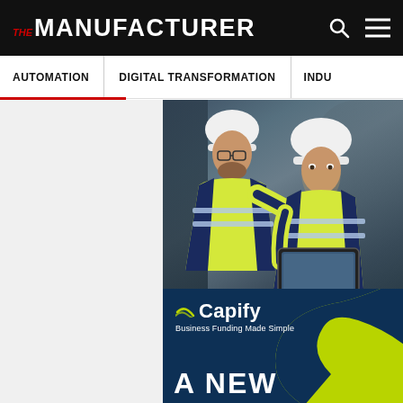THE MANUFACTURER
AUTOMATION | DIGITAL TRANSFORMATION | INDU...
[Figure (photo): Two workers in yellow hi-vis jackets and white hard hats looking at a tablet device in an industrial facility. Below the photo is a Capify advertisement panel with dark navy and lime green design, showing the Capify logo, tagline 'Business Funding Made Simple', and large bold text 'A NEW']